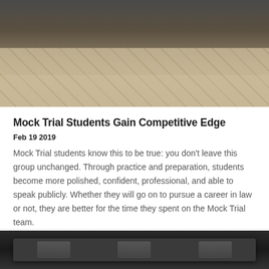[Figure (photo): Group of people standing on a wood parquet floor, showing their lower bodies and feet, dressed in formal/professional attire]
Mock Trial Students Gain Competitive Edge
Feb 19 2019
Mock Trial students know this to be true: you don’t leave this group unchanged. Through practice and preparation, students become more polished, confident, professional, and able to speak publicly. Whether they will go on to pursue a career in law or not, they are better for the time they spent on the Mock Trial team.
[Figure (photo): Interior room photo, partially visible at bottom of page, showing what appears to be furniture or desks in a dark setting]